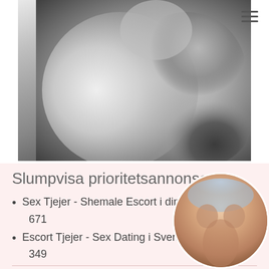[Figure (photo): Black and white artistic photo showing two figures with draped white fabric on a bed]
Slumpvisa prioritetsannonser
Sex Tjejer - Shemale Escort i din sta... 671
Escort Tjejer - Sex Dating i Sverige... 349
(partial, cut off at bottom)
[Figure (photo): Circular cropped photo of a person's torso]